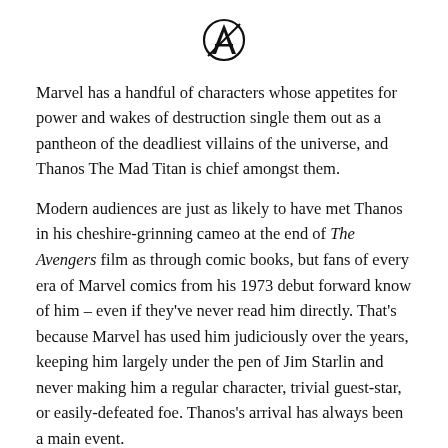[Figure (logo): Avengers logo — stylized letter A with a circle and diagonal slash]
Marvel has a handful of characters whose appetites for power and wakes of destruction single them out as a pantheon of the deadliest villains of the universe, and Thanos The Mad Titan is chief amongst them.
Modern audiences are just as likely to have met Thanos in his cheshire-grinning cameo at the end of The Avengers film as through comic books, but fans of every era of Marvel comics from his 1973 debut forward know of him – even if they've never read him directly. That's because Marvel has used him judiciously over the years, keeping him largely under the pen of Jim Starlin and never making him a regular character, trivial guest-star, or easily-defeated foe. Thanos's arrival has always been a main event.
The result is a tidy, eminently-readable back catalogue